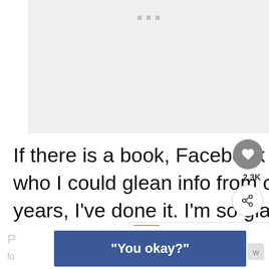[Figure (other): Gray advertisement placeholder area at top of page with three small gray square dots centered near the top]
If there is a book, Facebook group, or friend who I could glean info from over the past few years, I've done it. I'm so glad I did.
[Figure (other): Circular gray button with white heart icon (like/favorite button) with count 2.3K below it, and a circular share button below that]
[Figure (other): WHAT'S NEXT arrow panel showing thumbnail image and text 'How to Care for Chickens...']
[Figure (other): Blue banner advertisement with bold white text: "You okay?"]